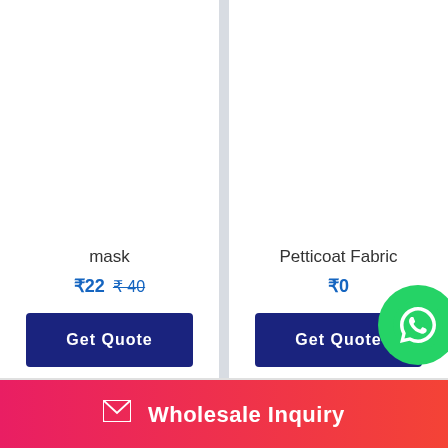mask
₹22  ₹40
Get Quote
Petticoat Fabric
₹0
Get Quote
[Figure (other): WhatsApp contact button - green circular icon]
✉ Wholesale Inquiry